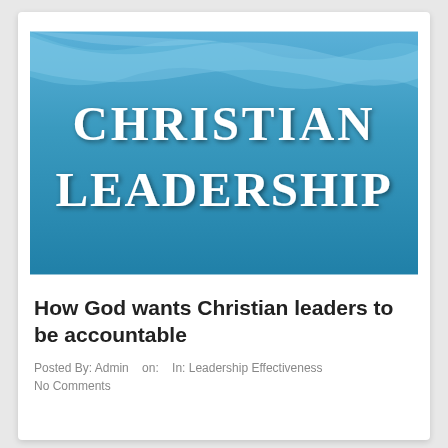[Figure (illustration): Blue gradient background image with wave/ripple design at top. White bold serif text reads 'CHRISTIAN LEADERSHIP' in two lines centered on the image.]
How God wants Christian leaders to be accountable
Posted By: Admin   on:   In: Leadership Effectiveness
No Comments